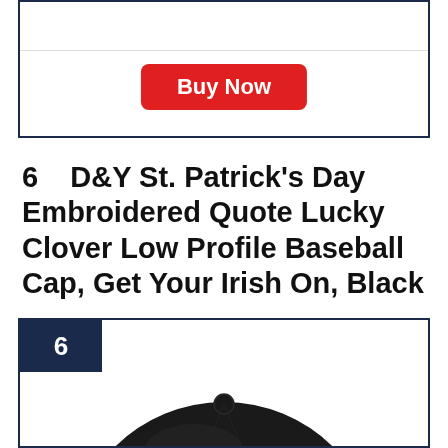[Figure (other): Top portion of a product card with a 'Buy Now' button in red]
6   D&Y St. Patrick's Day Embroidered Quote Lucky Clover Low Profile Baseball Cap, Get Your Irish On, Black
[Figure (photo): Product card showing item number 6 badge and a black baseball cap viewed from above]